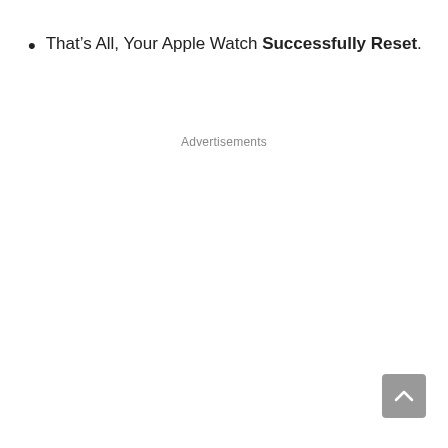That's All, Your Apple Watch Successfully Reset.
Advertisements